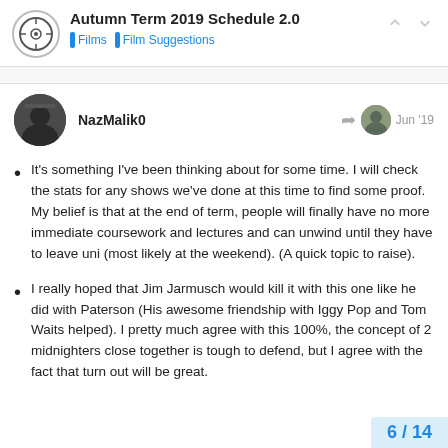Autumn Term 2019 Schedule 2.0 — Films | Film Suggestions
NazMalik0 — Jun '19
It's something I've been thinking about for some time. I will check the stats for any shows we've done at this time to find some proof. My belief is that at the end of term, people will finally have no more immediate coursework and lectures and can unwind until they have to leave uni (most likely at the weekend). (A quick topic to raise).
I really hoped that Jim Jarmusch would kill it with this one like he did with Paterson (His awesome friendship with Iggy Pop and Tom Waits helped). I pretty much agree with this 100%, the concept of 2 midnighters close together is tough to defend, but I agree with the fact that turn out will be great.
6 / 14